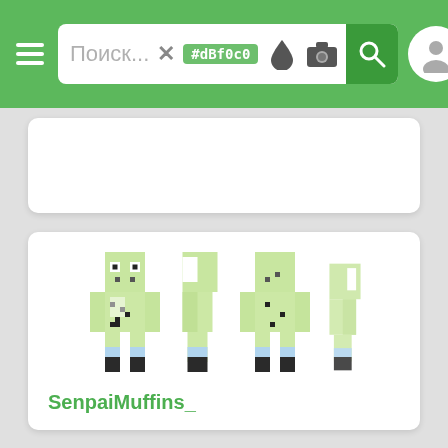Поиск... #dBf0c0 [search bar with color picker icons]
[Figure (screenshot): Minecraft skin viewer showing a light green creeper-style character from four angles (front, back, left side, right side). The character has a pale green mottled texture body, white face with black dot eyes, and dark feet. Username 'SenpaiMuffins_' displayed below.]
SenpaiMuffins_